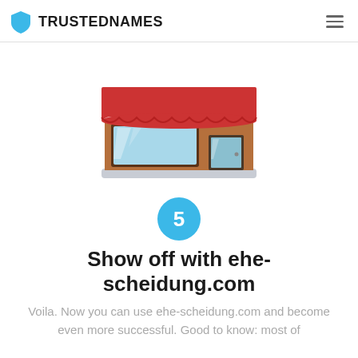TRUSTEDNAMES
[Figure (illustration): Flat illustration of a shop/store front with red and white striped awning, large display window with glass reflections, a door on the right side, brown brick facade, and grey sidewalk base.]
5
Show off with ehe-scheidung.com
Voila. Now you can use ehe-scheidung.com and become even more successful. Good to know: most of